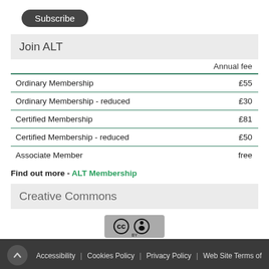[Figure (other): Subscribe button (dark rounded rectangle)]
Join ALT
|  | Annual fee |
| --- | --- |
| Ordinary Membership | £55 |
| Ordinary Membership - reduced | £30 |
| Certified Membership | £81 |
| Certified Membership - reduced | £50 |
| Associate Member | free |
Find out more - ALT Membership
Creative Commons
[Figure (logo): Creative Commons BY license badge]
This work is licensed under a Creative Commons Attribution 4.0 International License.
Accessibility | Cookies Policy | Privacy Policy | Web Site Terms of